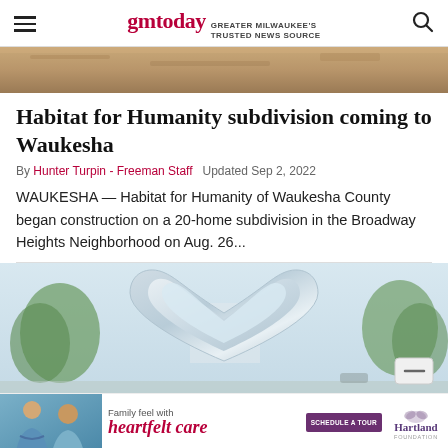gmtoday GREATER MILWAUKEE'S TRUSTED NEWS SOURCE
[Figure (photo): Top portion of an outdoor construction or landscape scene, brownish sandy/rocky ground visible at top crop]
Habitat for Humanity subdivision coming to Waukesha
By Hunter Turpin - Freeman Staff  Updated Sep 2, 2022
WAUKESHA — Habitat for Humanity of Waukesha County began construction on a 20-home subdivision in the Broadway Heights Neighborhood on Aug. 26...
[Figure (photo): Large silver/chrome metallic heart sculpture outdoors with trees and a building visible in the background through the heart opening]
[Figure (photo): Advertisement banner: woman and elderly person on left, text 'Family feel with heartfelt care', Schedule a Tour button, Hartland logo]